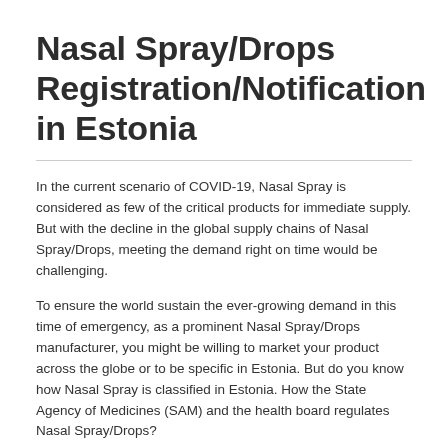Nasal Spray/Drops Registration/Notification in Estonia
In the current scenario of COVID-19, Nasal Spray is considered as few of the critical products for immediate supply. But with the decline in the global supply chains of Nasal Spray/Drops, meeting the demand right on time would be challenging.
To ensure the world sustain the ever-growing demand in this time of emergency, as a prominent Nasal Spray/Drops manufacturer, you might be willing to market your product across the globe or to be specific in Estonia. But do you know how Nasal Spray is classified in Estonia. How the State Agency of Medicines (SAM) and the health board regulates Nasal Spray/Drops?